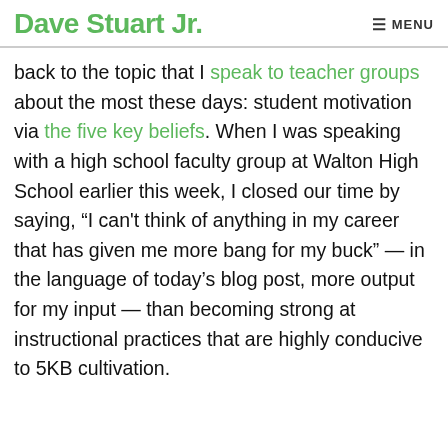Dave Stuart Jr. | MENU
back to the topic that I speak to teacher groups about the most these days: student motivation via the five key beliefs. When I was speaking with a high school faculty group at Walton High School earlier this week, I closed our time by saying, “I can't think of anything in my career that has given me more bang for my buck” — in the language of today’s blog post, more output for my input — than becoming strong at instructional practices that are highly conducive to 5KB cultivation.